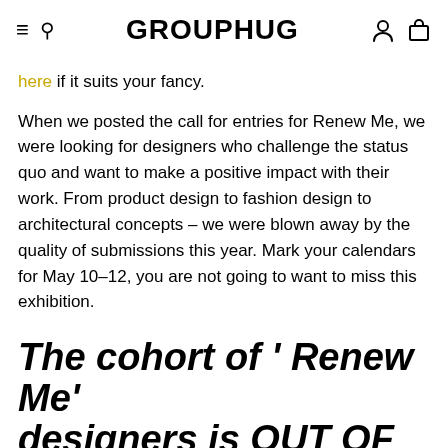GROUPHUG
here if it suits your fancy.
When we posted the call for entries for Renew Me, we were looking for designers who challenge the status quo and want to make a positive impact with their work. From product design to fashion design to architectural concepts – we were blown away by the quality of submissions this year. Mark your calendars for May 10–12, you are not going to want to miss this exhibition.
The cohort of 'Renew Me' designers is OUT OF THIS WORLD.